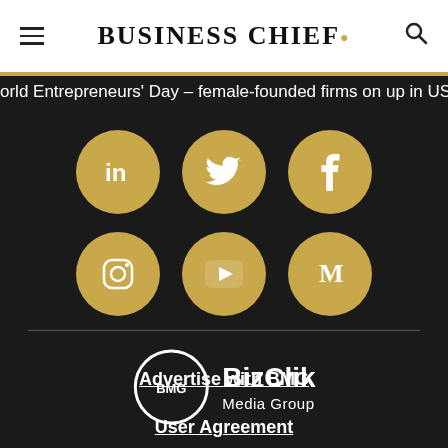BUSINESS CHIEF.
orld Entrepreneurs' Day – female-founded firms on up in US
[Figure (infographic): Six social media icons (LinkedIn, Twitter, Facebook, Instagram, YouTube, Medium) displayed as gold circles with white icons, arranged in two rows of three on a dark background]
[Figure (logo): BizClik Media Group logo: circular BMG badge next to BizClik Media Group text in white]
Advertise with BMG
User Agreement